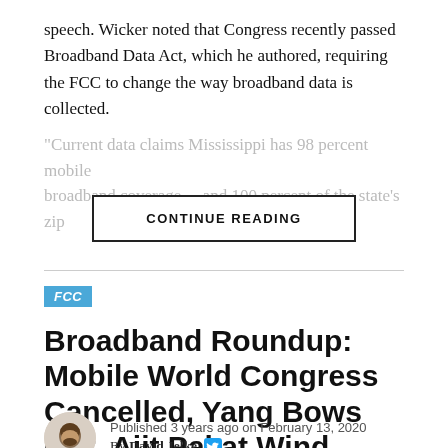speech. Wicker noted that Congress recently passed Broadband Data Act, which he authored, requiring the FCC to change the way broadband data is collected.
"Current data claims Mississippi has 98 percent mobile broadband coverage... [faded/truncated]
CONTINUE READING
FCC
Broadband Roundup: Mobile World Congress Cancelled, Yang Bows Out, Ajit Pai at Wind River Tribe
Published 3 years ago on February 13, 2020
By David Jelke